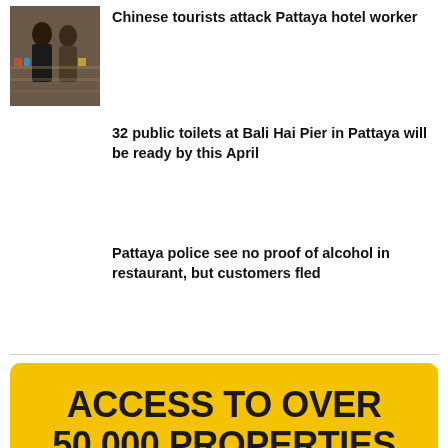[Figure (photo): Photo of people in a confrontation, appears to be inside a shop or hotel area]
Chinese tourists attack Pattaya hotel worker
32 public toilets at Bali Hai Pier in Pattaya will be ready by this April
Pattaya police see no proof of alcohol in restaurant, but customers fled
[Figure (infographic): Advertisement banner: ACCESS TO OVER 50,000 PROPERTIES for sale and rent across Thailand on yellow background]